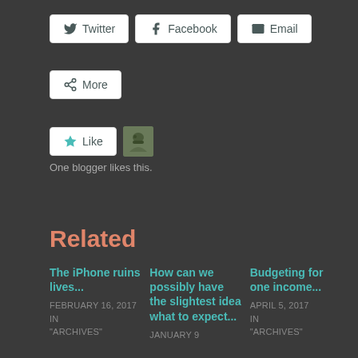Twitter
Facebook
Email
More
[Figure (other): Like button with star icon and blogger avatar thumbnail]
One blogger likes this.
Related
The iPhone ruins lives...
FEBRUARY 16, 2017
IN
"ARCHIVES"
How can we possibly have the slightest idea what to expect...
JANUARY 9
Budgeting for one income...
APRIL 5, 2017
IN
"ARCHIVES"